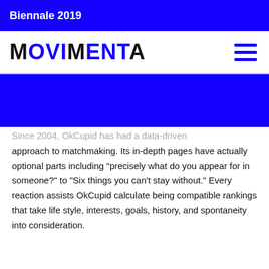Biennale 2019
[Figure (logo): MOVIMENTA logo in blue bold sans-serif font with hamburger menu icon on the right]
Since 2004, OkCupid has had a data-driven approach to matchmaking. Its in-depth pages have actually optional parts including "precisely what do you appear for in someone?" to "Six things you can't stay without." Every reaction assists OkCupid calculate being compatible rankings that take life style, interests, goals, history, and spontaneity into consideration.